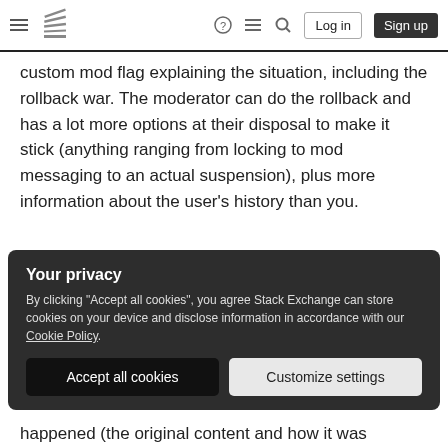Stack Exchange navigation bar with hamburger menu, logo, help, chat, search, Log in, Sign up
custom mod flag explaining the situation, including the rollback war. The moderator can do the rollback and has a lot more options at their disposal to make it stick (anything ranging from locking to mod messaging to an actual suspension), plus more information about the user's history than you.
In fact, as a moderator on another site, I would appreciate a custom flag about abusive language that crosses the line like this, even if you were to resolve this via a rollback by yourself. No action
Your privacy
By clicking "Accept all cookies", you agree Stack Exchange can store cookies on your device and disclose information in accordance with our Cookie Policy.
Accept all cookies
Customize settings
happened (the original content and how it was